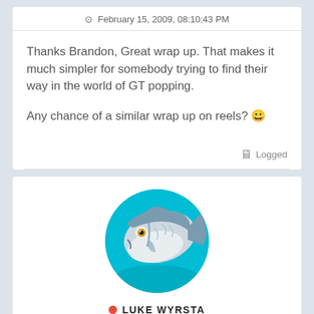February 15, 2009, 08:10:43 PM
Thanks Brandon, Great wrap up. That makes it much simpler for somebody trying to find their way in the world of GT popping.

Any chance of a similar wrap up on reels? 😀
Logged
[Figure (illustration): Circular avatar with cyan/turquoise background showing an illustrated fish (tuna/GT) in gray and white tones with a gold eye]
LUKE WYRSTA
Administrator